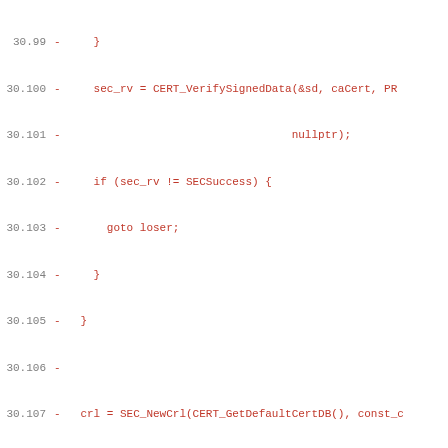Code diff showing removed lines 30.99-30.130 in a C++ source file related to CRL (Certificate Revocation List) import functionality in NSS/PKIX security library.